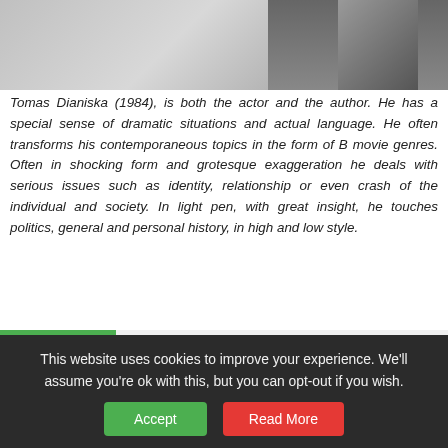[Figure (photo): Grayscale partial photo of a person, upper portion cropped]
Tomas Dianiska (1984), is both the actor and the author. He has a special sense of dramatic situations and actual language. He often transforms his contemporaneous topics in the form of B movie genres. Often in shocking form and grotesque exaggeration he deals with serious issues such as identity, relationship or even crash of the individual and society. In light pen, with great insight, he touches politics, general and personal history, in high and low style.
Biography | Selected Texts 2017-2020
Tomáš Dianiška (1984) was born in Bánská Bystrica, Slovakia, in 1984. In 2008, he graduated from the Drama Department (Acting Programme) at the Theatre Faculty at the Academy of Performing Arts (DAMU) in Prague. After graduation, he stayed...
This website uses cookies to improve your experience. We'll assume you're ok with this, but you can opt-out if you wish.